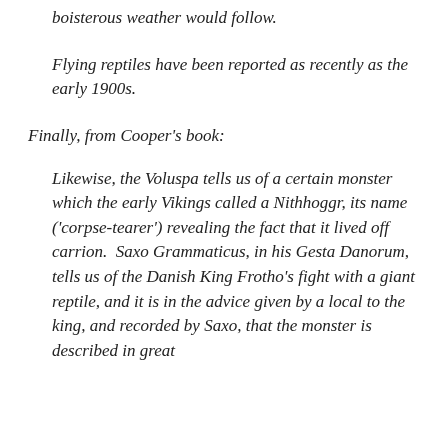boisterous weather would follow.
Flying reptiles have been reported as recently as the early 1900s.
Finally, from Cooper's book:
Likewise, the Voluspa tells us of a certain monster which the early Vikings called a Nithhoggr, its name ('corpse-tearer') revealing the fact that it lived off carrion.  Saxo Grammaticus, in his Gesta Danorum, tells us of the Danish King Frotho's fight with a giant reptile, and it is in the advice given by a local to the king, and recorded by Saxo, that the monster is described in great